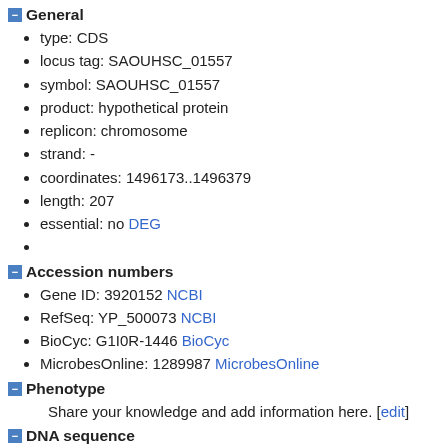General
type: CDS
locus tag: SAOUHSC_01557
symbol: SAOUHSC_01557
product: hypothetical protein
replicon: chromosome
strand: -
coordinates: 1496173..1496379
length: 207
essential: no DEG
Accession numbers
Gene ID: 3920152 NCBI
RefSeq: YP_500073 NCBI
BioCyc: G1I0R-1446 BioCyc
MicrobesOnline: 1289987 MicrobesOnline
Phenotype
Share your knowledge and add information here. [edit]
DNA sequence
1
61
121